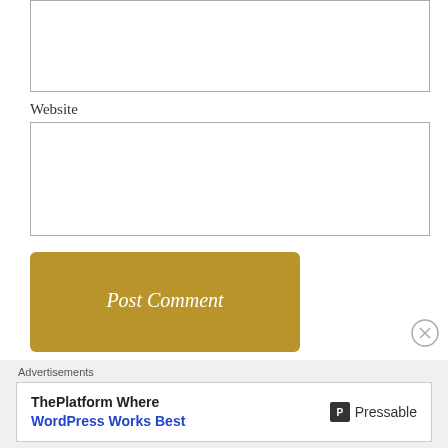[Figure (screenshot): Empty text input box (top, partially visible)]
Website
[Figure (screenshot): Empty website text input box]
[Figure (screenshot): Post Comment button (gold/olive colored)]
Notify me of new comments via email.
Notify me of new posts via email.
Advertisements
[Figure (screenshot): Pressable advertisement banner: ThePlatform Where WordPress Works Best]